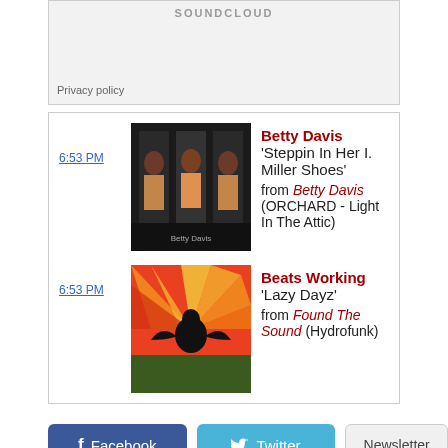[Figure (screenshot): SoundCloud embedded player box with gray background and Privacy policy link]
Privacy policy
| 6:53 PM | Betty Davis | 'Steppin In Her I. Miller Shoes' | from Betty Davis (ORCHARD - Light In The Attic) |
| 6:53 PM | Beats Working | 'Lazy Dayz' | from Found The Sound (Hydrofunk) |
[Figure (screenshot): Facebook button]
[Figure (screenshot): Twitter button]
[Figure (screenshot): Newsletter button]
[Figure (photo): Advertisement: Skip the Hassles of Selling Your Vehicle — shows cars and people outdoors]